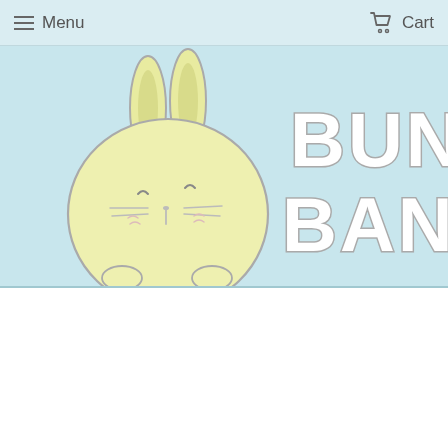Menu  Cart
[Figure (illustration): Bunny Banana website header banner with a cute round yellow cartoon bunny character on the left and the text 'BUNNY BANANA' in large bold white outlined letters on the right, set against a light blue background.]